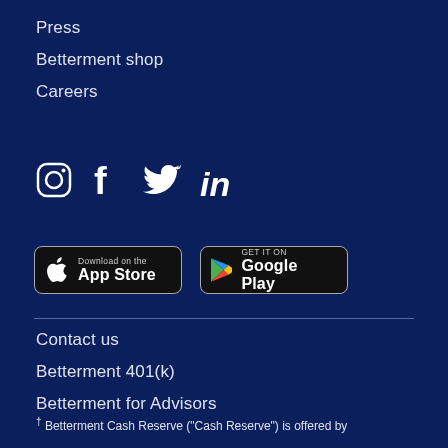Press
Betterment shop
Careers
[Figure (infographic): Social media icons: Instagram, Facebook, Twitter, LinkedIn]
[Figure (infographic): App store badges: Download on the App Store, GET IT ON Google Play]
Contact us
Betterment 401(k)
Betterment for Advisors
† Betterment Cash Reserve ("Cash Reserve") is offered by